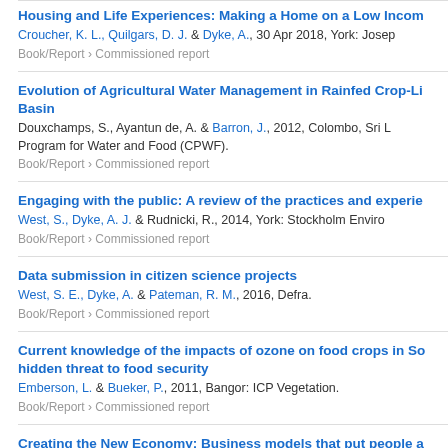Housing and Life Experiences: Making a Home on a Low Income
Croucher, K. L., Quilgars, D. J. & Dyke, A., 30 Apr 2018, York: Josep
Book/Report › Commissioned report
Evolution of Agricultural Water Management in Rainfed Crop-Li Basin
Douxchamps, S., Ayantun de, A. & Barron, J., 2012, Colombo, Sri L Program for Water and Food (CPWF).
Book/Report › Commissioned report
Engaging with the public: A review of the practices and experie
West, S., Dyke, A. J. & Rudnicki, R., 2014, York: Stockholm Enviro
Book/Report › Commissioned report
Data submission in citizen science projects
West, S. E., Dyke, A. & Pateman, R. M., 2016, Defra.
Book/Report › Commissioned report
Current knowledge of the impacts of ozone on food crops in So hidden threat to food security
Emberson, L. & Bueker, P., 2011, Bangor: ICP Vegetation.
Book/Report › Commissioned report
Creating the New Economy: Business models that put people a
Doherty, B., Haugh, H., Sahan, E., Wills, T. & Croft, S., 22 Jan 2020
Book/Report › Commissioned report